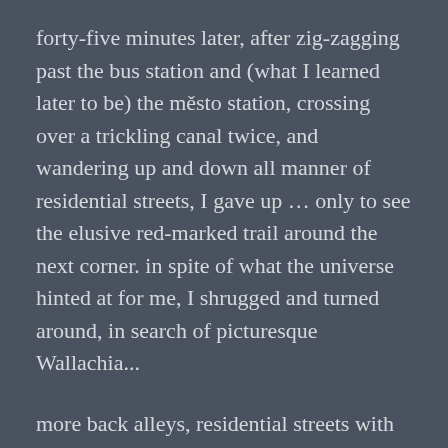forty-five minutes later, after zig-zagging past the bus station and (what I learned later to be) the město station, crossing over a trickling canal twice, and wandering up and down all manner of residential streets, I gave up … only to see the elusive red-marked trail around the next corner. in spite of what the universe hinted at for me, I shrugged and turned around, in search of picturesque Wallachia...
more back alleys, residential streets with high rises and single family cottages, crossing the canal a couple more times, past the horní nádraží (which certainly didn't look like it still received passenger trains of any kind ...) — thirty more minutes later and I was finally into...